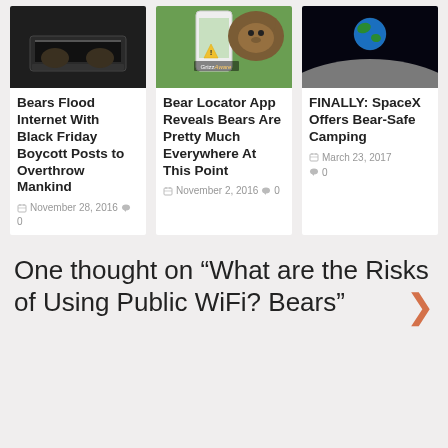[Figure (photo): Three article cards with thumbnail images: laptop hands, bear app on phone, moon/earth from space]
Bears Flood Internet With Black Friday Boycott Posts to Overthrow Mankind
November 28, 2016  0
Bear Locator App Reveals Bears Are Pretty Much Everywhere At This Point
November 2, 2016  0
FINALLY: SpaceX Offers Bear-Safe Camping
March 23, 2017  0
One thought on “What are the Risks of Using Public WiFi? Bears”